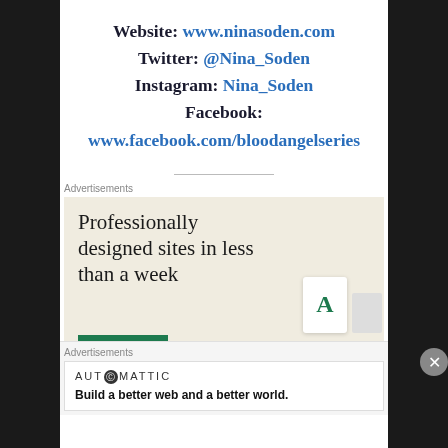Website: www.ninasoden.com
Twitter: @Nina_Soden
Instagram: Nina_Soden
Facebook:
www.facebook.com/bloodangelseries
Advertisements
[Figure (screenshot): Advertisement: 'Professionally designed sites in less than a week' on beige background with green bar and card graphics. Automattic branding.]
Advertisements
[Figure (screenshot): Automattic ad: 'Build a better web and a better world.']